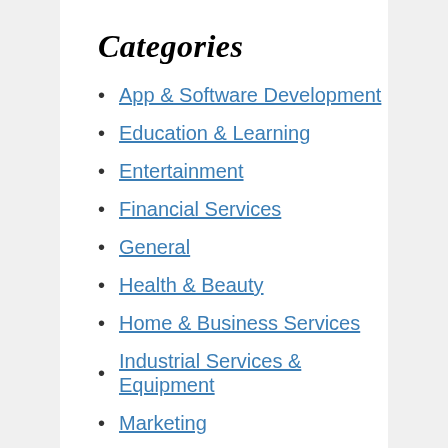Categories
App & Software Development
Education & Learning
Entertainment
Financial Services
General
Health & Beauty
Home & Business Services
Industrial Services & Equipment
Marketing
Mobile
Real Estate & Property